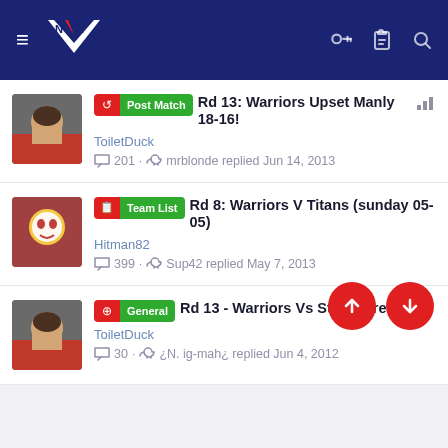NZ Warriors Forum - Navigation header with logo, hamburger menu, key, clipboard, and search icons
Post Match | Rd 13: Warriors Upset Manly 18-16! | ToiletDuck | 201 replies | mrblonde replied Jun 14, 2013
Team List | Rd 8: Warriors V Titans (sunday 05-05) | Hitman82 | 399 replies | Sup42 replied May 7, 2013
General | Rd 13 - Warriors Vs Storm Preview! | ToiletDuck | 30 replies | ¿N. ig-mah¿ replied Jun 4, 2012